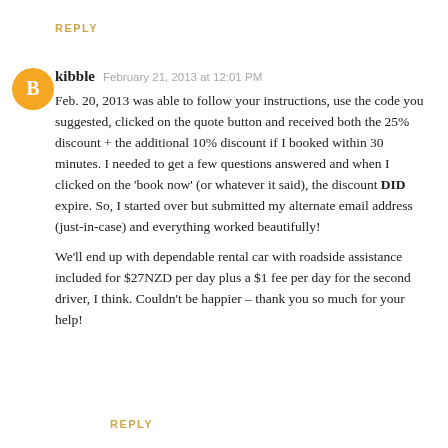REPLY
kibble  February 21, 2013 at 12:01 PM
Feb. 20, 2013 was able to follow your instructions, use the code you suggested, clicked on the quote button and received both the 25% discount + the additional 10% discount if I booked within 30 minutes. I needed to get a few questions answered and when I clicked on the 'book now' (or whatever it said), the discount DID expire. So, I started over but submitted my alternate email address (just-in-case) and everything worked beautifully!

We'll end up with dependable rental car with roadside assistance included for $27NZD per day plus a $1 fee per day for the second driver, I think. Couldn't be happier – thank you so much for your help!
REPLY